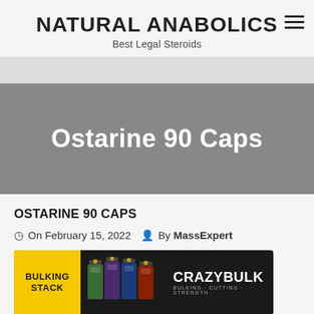NATURAL ANABOLICS
Best Legal Steroids
Ostarine 90 Caps
OSTARINE 90 CAPS
On February 15, 2022  By MassExpert
[Figure (photo): CrazyBulk Bulking Stack promotional banner with supplement bottles on dark background]